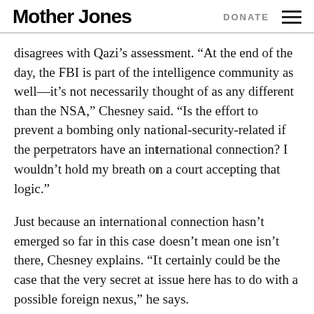Mother Jones | DONATE
disagrees with Qazi’s assessment. “At the end of the day, the FBI is part of the intelligence community as well—it’s not necessarily thought of as any different than the NSA,” Chesney said. “Is the effort to prevent a bombing only national-security-related if the perpetrators have an international connection? I wouldn’t hold my breath on a court accepting that logic.”
Just because an international connection hasn’t emerged so far in this case doesn’t mean one isn’t there, Chesney explains. “It certainly could be the case that the very secret at issue here has to do with a possible foreign nexus,” he says.